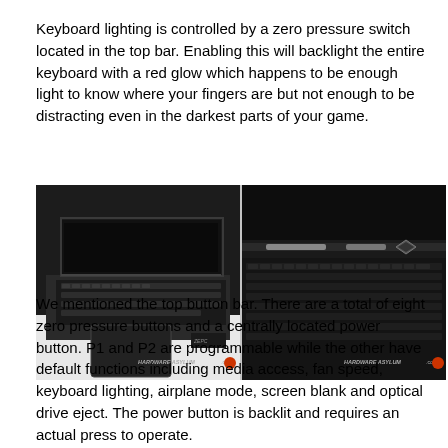Keyboard lighting is controlled by a zero pressure switch located in the top bar. Enabling this will backlight the entire keyboard with a red glow which happens to be enough light to know where your fingers are but not enough to be distracting even in the darkest parts of your game.
[Figure (photo): Two side-by-side photographs of a black gaming laptop. Left photo shows the laptop open from a front-left angle with keyboard visible and Hardware Asylum watermark. Right photo shows a close-up of the keyboard and top edge from a different angle with Hardware Asylum watermark.]
We mentioned the top button bar. There are a total of eight zero pressure buttons and a centrally located power button. P1 and P2 are programmable while the other have default functions including media access, fan speed, keyboard lighting, airplane mode, screen blank and optical drive eject. The power button is backlit and requires an actual press to operate.